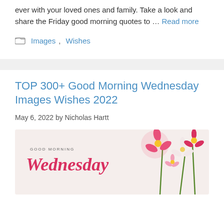ever with your loved ones and family. Take a look and share the Friday good morning quotes to … Read more
Images, Wishes
TOP 300+ Good Morning Wednesday Images Wishes 2022
May 6, 2022 by Nicholas Hartt
[Figure (illustration): Good Morning Wednesday greeting card image with pink and red flowers (gerbera daisies) on a light beige/cream background, with text 'GOOD MORNING' in small caps and 'Wednesday' in large red cursive script.]